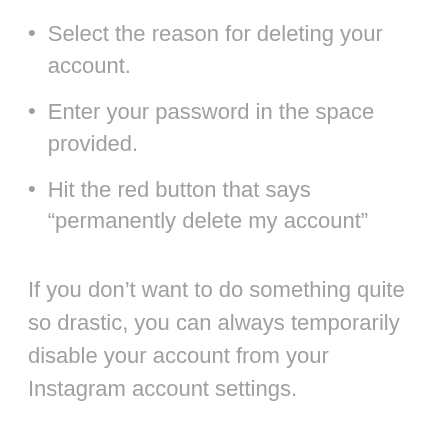Select the reason for deleting your account.
Enter your password in the space provided.
Hit the red button that says “permanently delete my account”
If you don’t want to do something quite so drastic, you can always temporarily disable your account from your Instagram account settings.